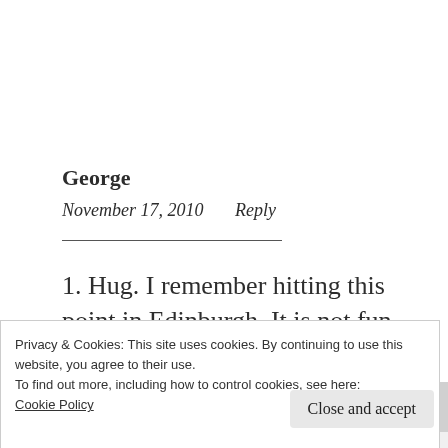George
November 17, 2010   Reply
1. Hug. I remember hitting this point in Edinburgh. It is not fun and I am already
Privacy & Cookies: This site uses cookies. By continuing to use this website, you agree to their use.
To find out more, including how to control cookies, see here:
Cookie Policy
Close and accept